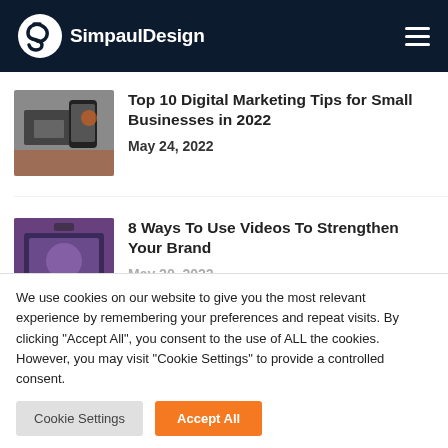SimpaulDesign
[Figure (photo): Person using a smartphone with a laptop on a desk, overhead shot]
Top 10 Digital Marketing Tips for Small Businesses in 2022
May 24, 2022
[Figure (photo): Person working at a desk with purple toned lighting, looking at a screen]
8 Ways To Use Videos To Strengthen Your Brand
May 20, 2022
We use cookies on our website to give you the most relevant experience by remembering your preferences and repeat visits. By clicking "Accept All", you consent to the use of ALL the cookies. However, you may visit "Cookie Settings" to provide a controlled consent.
Cookie Settings
Accept All